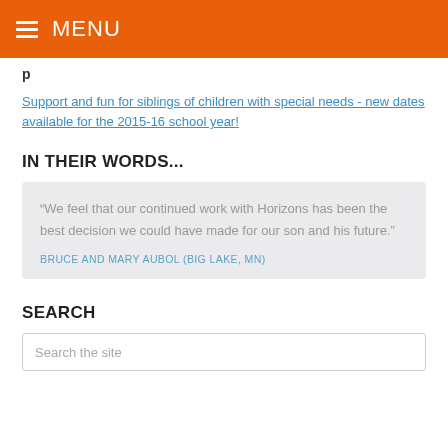MENU
Support and fun for siblings of children with special needs - new dates available for the 2015-16 school year!
IN THEIR WORDS...
“We feel that our continued work with Horizons has been the best decision we could have made for our son and his future.”
BRUCE AND MARY AUBOL (BIG LAKE, MN)
SEARCH
Search the site